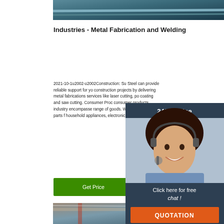[Figure (photo): Top partial image showing metal/industrial material in blue-gray tones]
Industries - Metal Fabrication and Welding
2021-10-1u2002·u2002Construction: Su... Steel can provide reliable support for you construction projects by delivering metal fabrications services like laser cutting, po coating and saw cutting. Consumer Proc consumer products industry encompasse range of goods. We can fabricate parts f household appliances, electronic equipm more.
[Figure (photo): Chat widget showing a woman with headset, 24/7 Online label, Click here for free chat link, and QUOTATION button]
[Figure (photo): Get Price green button]
[Figure (photo): Bottom partial image showing industrial/factory interior]